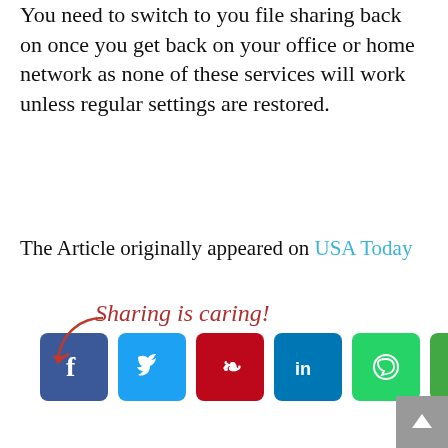You need to switch to you file sharing back on once you get back on your office or home network as none of these services will work unless regular settings are restored.
The Article originally appeared on USA Today
[Figure (infographic): Sharing is caring! social share buttons: Facebook, Twitter, Pinterest, LinkedIn, WhatsApp, and a messaging app]
Previous article
Samsung Galaxy Note 8 might be out soon around September 15th
Next article
Google needs to pay Apple a good fortune